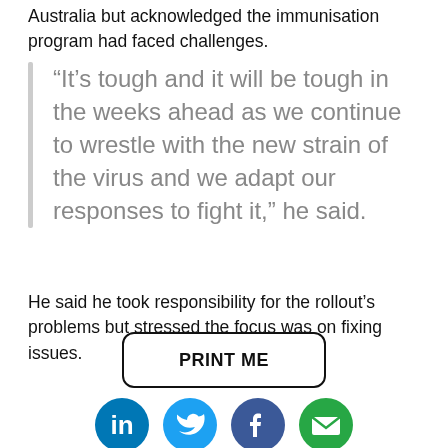Australia but acknowledged the immunisation program had faced challenges.
“It’s tough and it will be tough in the weeks ahead as we continue to wrestle with the new strain of the virus and we adapt our responses to fight it,” he said.
He said he took responsibility for the rollout’s problems but stressed the focus was on fixing issues.
[Figure (infographic): PRINT ME button with rounded rectangle border, followed by four social media icons: LinkedIn (blue circle with 'in'), Twitter (light blue circle with bird), Facebook (dark blue circle with 'f'), Email (green circle with envelope)]